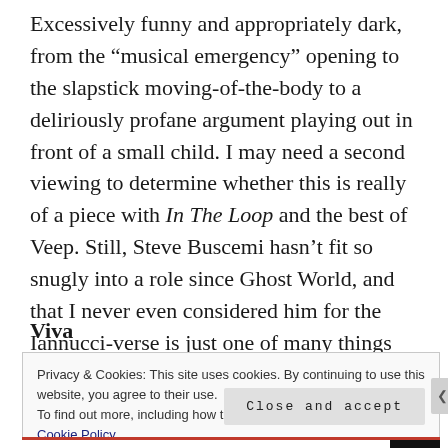Excessively funny and appropriately dark, from the “musical emergency” opening to the slapstick moving-of-the-body to a deliriously profane argument playing out in front of a small child. I may need a second viewing to determine whether this is really of a piece with In The Loop and the best of Veep. Still, Steve Buscemi hasn’t fit so snugly into a role since Ghost World, and that I never even considered him for the Iannucci-verse is just one of many things that keeps this from feeling like a retread. A-
Viva
Privacy & Cookies: This site uses cookies. By continuing to use this website, you agree to their use.
To find out more, including how to control cookies, see here: Cookie Policy
Close and accept